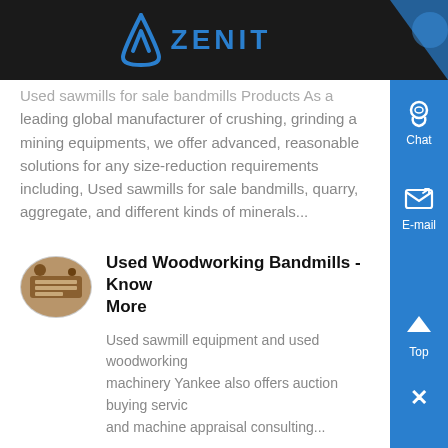ZENIT
Used sawmills for sale bandmills Products As a leading global manufacturer of crushing, grinding and mining equipments, we offer advanced, reasonable solutions for any size-reduction requirements including, Used sawmills for sale bandmills, quarry, aggregate, and different kinds of minerals...
[Figure (photo): Thumbnail image of woodworking bandmill machinery]
Used Woodworking Bandmills - Know More
Used sawmill equipment and used woodworking machinery Yankee also offers auction buying service and machine appraisal consulting...
[Figure (photo): Thumbnail image of bandmill/arborist equipment]
You Guys Looking At New Bandmills, Page 3 Arboristsite - Know More